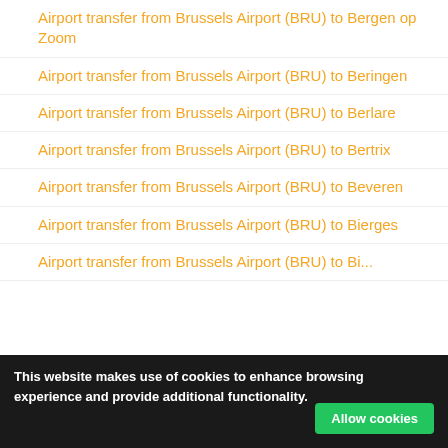Airport transfer from Brussels Airport (BRU) to Bergen op Zoom
Airport transfer from Brussels Airport (BRU) to Beringen
Airport transfer from Brussels Airport (BRU) to Berlare
Airport transfer from Brussels Airport (BRU) to Bertrix
Airport transfer from Brussels Airport (BRU) to Beveren
Airport transfer from Brussels Airport (BRU) to Bierges
Airport transfer from Brussels Airport (BRU) to Bierwart (partial)
This website makes use of cookies to enhance browsing experience and provide additional functionality.